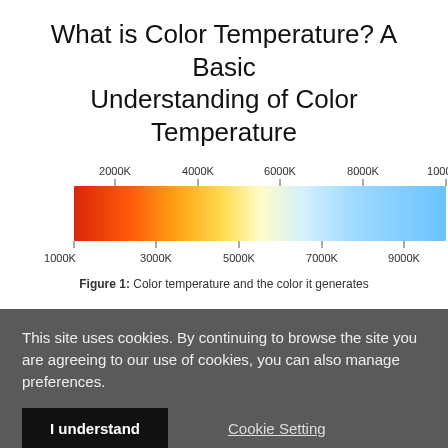What is Color Temperature? A Basic Understanding of Color Temperature
[Figure (infographic): Horizontal color temperature gradient bar ranging from red/orange (1000K) on the left to light blue (10000K) on the right, with tick marks and labels at 1000K, 2000K, 3000K, 4000K, 5000K, 6000K, 7000K, 8000K, 9000K, 10000K]
Figure 1: Color temperature and the color it generates
This site uses cookies. By continuing to browse the site you are agreeing to our use of cookies, you can also manage preferences.
I understand
Cookie Setting
Find More